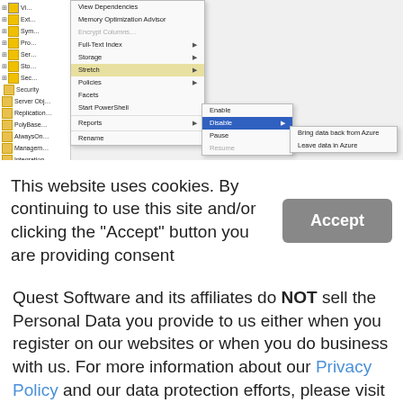[Figure (screenshot): SQL Server Management Studio screenshot showing a context menu with 'Stretch' highlighted, a submenu with Enable/Disable/Pause/Resume, and a nested submenu showing 'Bring data back from Azure' and 'Leave data in Azure'. Left panel shows database tree with Security, Server Objects, Replication, PolyBase, AlwaysOn, Management, Integration, and SQL Server nodes.]
This website uses cookies. By continuing to use this site and/or clicking the "Accept" button you are providing consent
Quest Software and its affiliates do NOT sell the Personal Data you provide to us either when you register on our websites or when you do business with us. For more information about our Privacy Policy and our data protection efforts, please visit GDPR-HQ